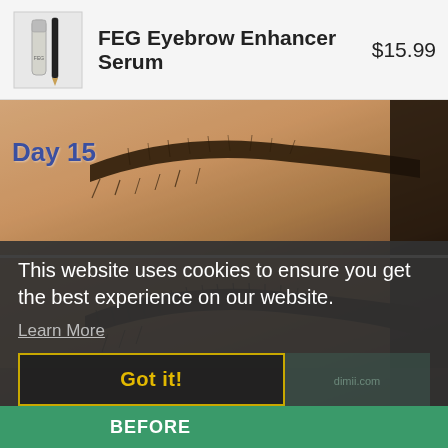FEG Eyebrow Enhancer Serum   $15.99
[Figure (photo): Before/after eyebrow growth photo showing Day 15 and Day 30 results with labeled progress photos of eyebrow enhancement]
This website uses cookies to ensure you get the best experience on our website.
Learn More
Got it!
BEFORE